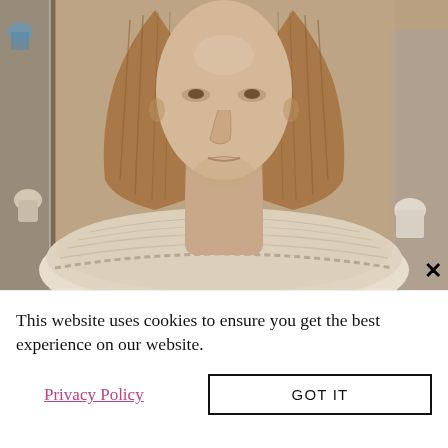[Figure (photo): Close-up photograph of an ancient Egyptian alabaster/marble bust sculpture showing the head and broad collar necklace of a female figure, displayed in a museum case with other artifacts visible in the background.]
This website uses cookies to ensure you get the best experience on our website.
Privacy Policy
GOT IT